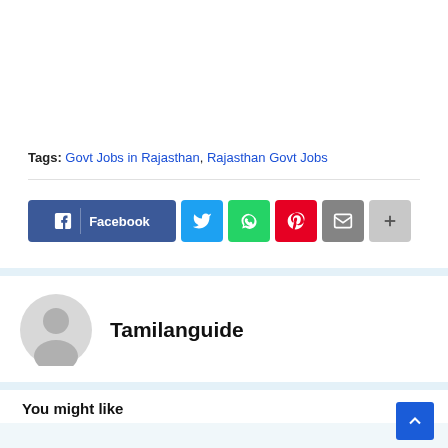Tags: Govt Jobs in Rajasthan, Rajasthan Govt Jobs
[Figure (infographic): Social share buttons: Facebook, Twitter, WhatsApp, Pinterest, Email, More]
Tamilanguide
You might like